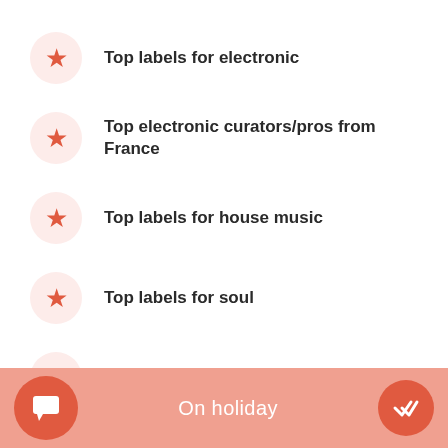Top labels for electronic
Top electronic curators/pros from France
Top labels for house music
Top labels for soul
Top labels for nu-disco
On holiday